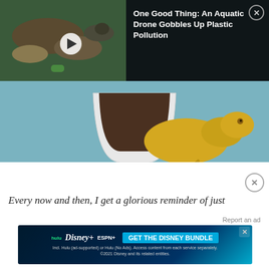[Figure (screenshot): Embedded video player showing a yellow/albino salamander or axolotl climbing out of a white cup, with a background showing a duck amid trash/litter near water]
[Figure (screenshot): Notification overlay on black background with close X button, showing title: One Good Thing: An Aquatic Drone Gobbles Up Plastic Pollution]
Every now and then, I get a glorious reminder of just
[Figure (screenshot): Advertisement banner for Disney Bundle featuring Hulu, Disney+, ESPN+ logos and GET THE DISNEY BUNDLE CTA. Fine print: Incl. Hulu (ad-supported) or Hulu (No Ads). Access content from each service separately. ©2021 Disney and its related entities.]
Report an ad